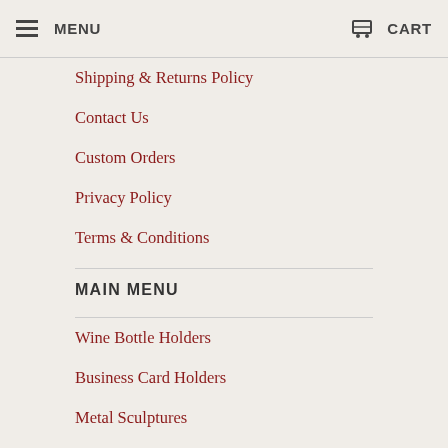MENU  CART
Shipping & Returns Policy
Contact Us
Custom Orders
Privacy Policy
Terms & Conditions
MAIN MENU
Wine Bottle Holders
Business Card Holders
Metal Sculptures
Home & Garden
Special Occasions
[Figure (illustration): Facebook social media icon (letter f)]